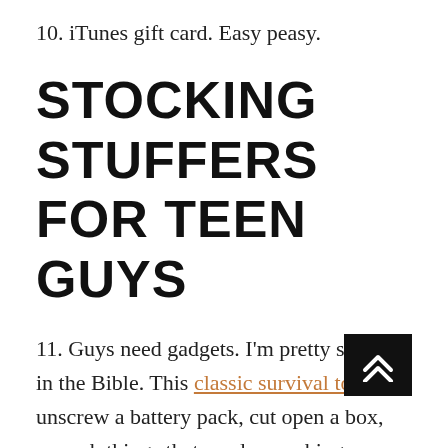10. iTunes gift card. Easy peasy.
STOCKING STUFFERS FOR TEEN GUYS
11. Guys need gadgets. I'm pretty sure it's in the Bible. This classic survival tool will unscrew a battery pack, cut open a box, wrench things that need wrenching, open a bottle of soda, and hook onto your key chain. Can't ask for much more than that.
12. Every dude needs a really nice wallet. It's